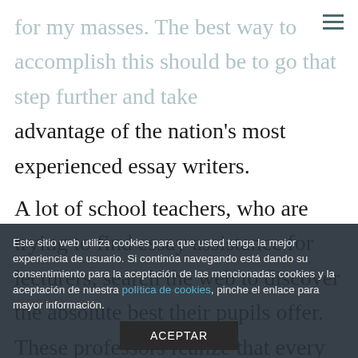for my masses. The best way to accomplish this should be to go that step further and take advantage of the nation's most experienced essay writers.
A lot of school teachers, who are trying to find essay assistance for lecturers, search the web to discover the absolute best their pupils offer. These professors realize that every time they go to web page from the profitable essay freelance writers, they can be surprised by the material in the content, that are filled with
Este sitio web utiliza cookies para que usted tenga la mejor experiencia de usuario. Si continúa navegando está dando su consentimiento para la aceptación de las mencionadas cookies y la aceptación de nuestra política de cookies, pinche el enlace para mayor información.
ACEPTAR